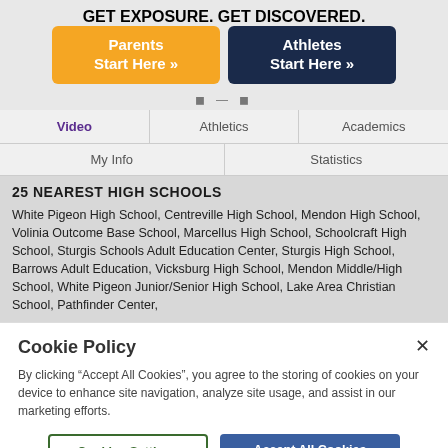GET EXPOSURE. GET DISCOVERED.
Parents Start Here »
Athletes Start Here »
Video | Athletics | Academics
My Info | Statistics
25 NEAREST HIGH SCHOOLS
White Pigeon High School, Centreville High School, Mendon High School, Volinia Outcome Base School, Marcellus High School, Schoolcraft High School, Sturgis Schools Adult Education Center, Sturgis High School, Barrows Adult Education, Vicksburg High School, Mendon Middle/High School, White Pigeon Junior/Senior High School, Lake Area Christian School, Pathfinder Center,
Cookie Policy
By clicking “Accept All Cookies”, you agree to the storing of cookies on your device to enhance site navigation, analyze site usage, and assist in our marketing efforts.
Cookies Settings
Accept All Cookies